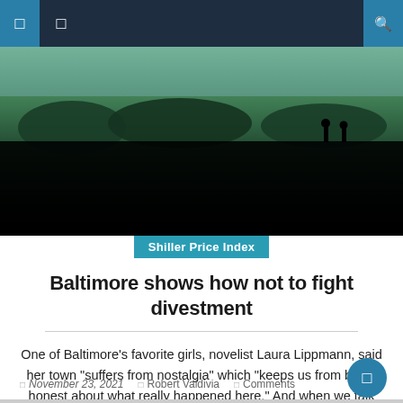Navigation bar with menu icons and search
[Figure (photo): Outdoor landscape photo showing dark silhouetted terrain with vegetation, water in background, and people walking along edge. Image fades to black at bottom.]
Shiller Price Index
Baltimore shows how not to fight divestment
One of Baltimore’s favorite girls, novelist Laura Lippmann, said her town “suffers from nostalgia” which “keeps us from being honest about what really happened here.” And when we talk about our city tragic decline, we are often in denial of what happened. Although Baltimore has adopted progressive policies for generations – creating a public housing [...]
November 23, 2021   Robert Valdivia   Comments